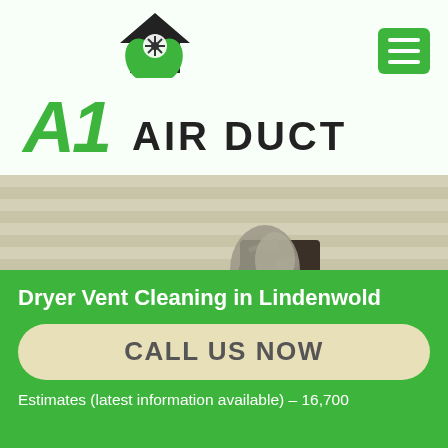[Figure (logo): A1 Air Duct logo with house icon containing a fan/snowflake and green leaves, with green 'A1' italic text and bold 'AIR DUCT' text. Green hamburger menu button in top right.]
[Figure (photo): Photo of lint/debris clogging a dryer vent on the exterior of a house, showing lint hanging out of a vent opening on vinyl siding.]
Dryer Vent Cleaning in Lindenwold
CALL US NOW
Estimates (latest information available) – 16,700